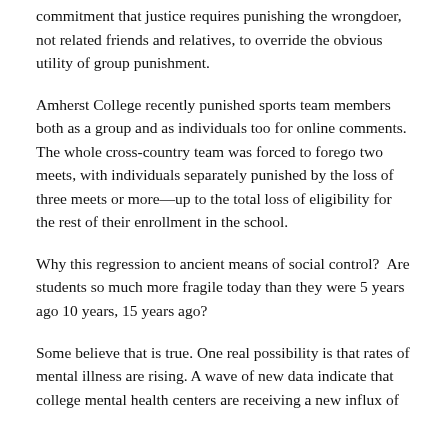commitment that justice requires punishing the wrongdoer, not related friends and relatives, to override the obvious utility of group punishment.
Amherst College recently punished sports team members both as a group and as individuals too for online comments. The whole cross-country team was forced to forego two meets, with individuals separately punished by the loss of three meets or more—up to the total loss of eligibility for the rest of their enrollment in the school.
Why this regression to ancient means of social control?  Are students so much more fragile today than they were 5 years ago 10 years, 15 years ago?
Some believe that is true. One real possibility is that rates of mental illness are rising. A wave of new data indicate that college mental health centers are receiving a new influx of